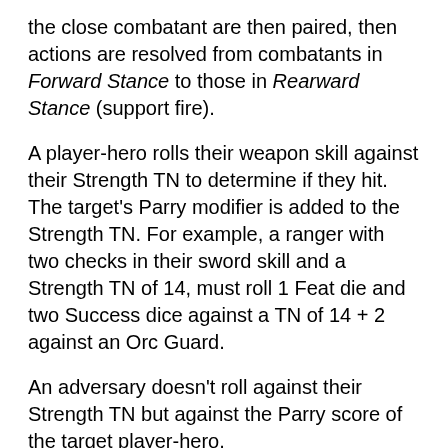the close combatant are then paired, then actions are resolved from combatants in Forward Stance to those in Rearward Stance (support fire).
A player-hero rolls their weapon skill against their Strength TN to determine if they hit. The target's Parry modifier is added to the Strength TN. For example, a ranger with two checks in their sword skill and a Strength TN of 14, must roll 1 Feat die and two Success dice against a TN of 14 + 2 against an Orc Guard.
An adversary doesn't roll against their Strength TN but against the Parry score of the target player-hero.
Should the attack succeed, the target loses a number of Endurance points equal to the weapon's Damage rating. For example, 5 for a long sword, or 7 for a great axe.